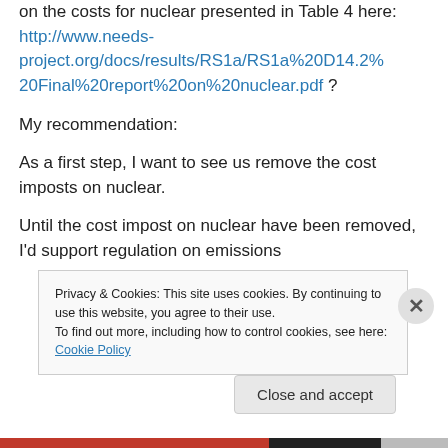By the way, does anyone have any comments on the costs for nuclear presented in Table 4 here: http://www.needs-project.org/docs/results/RS1a/RS1a%20D14.2%20Final%20report%20on%20nuclear.pdf ?
My recommendation:
As a first step, I want to see us remove the cost imposts on nuclear.
Until the cost impost on nuclear have been removed, I'd support regulation on emissions
Privacy & Cookies: This site uses cookies. By continuing to use this website, you agree to their use.
To find out more, including how to control cookies, see here: Cookie Policy